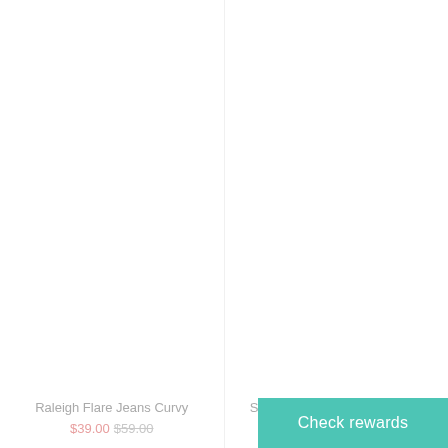[Figure (photo): Product image area for Raleigh Flare Jeans Curvy (white/blank)]
Raleigh Flare Jeans Curvy
$39.00 $59.00
[Figure (photo): Product image area for Sweet Temptation Flare Pants (white/blank)]
Sweet Temptation Flare Pants
$33.00
Check rewards